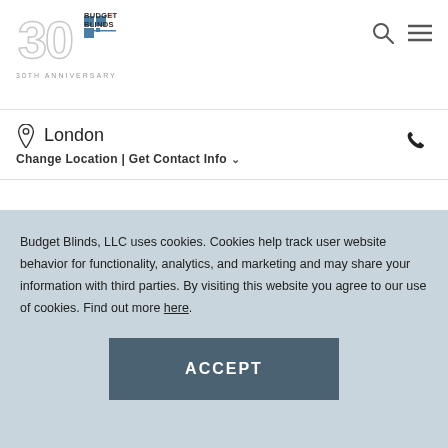Budget Blinds 30th Anniversary logo, Search and Menu icons
London
Change Location | Get Contact Info
Budget Blinds, LLC uses cookies. Cookies help track user website behavior for functionality, analytics, and marketing and may share your information with third parties. By visiting this website you agree to our use of cookies. Find out more here.
ACCEPT